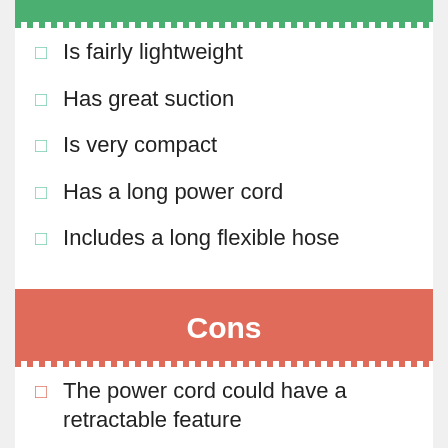Is fairly lightweight
Has great suction
Is very compact
Has a long power cord
Includes a long flexible hose
Cons
The power cord could have a retractable feature
Does not have an onboard